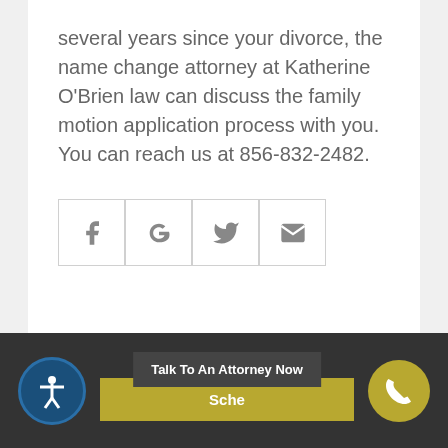several years since your divorce, the name change attorney at Katherine O'Brien law can discuss the family motion application process with you.  You can reach us at 856-832-2482.
[Figure (other): Social sharing icons: Facebook, Google+, Twitter, Email — displayed as bordered icon boxes]
Accessibility icon | Schedule button | Talk To An Attorney Now tooltip | Call button